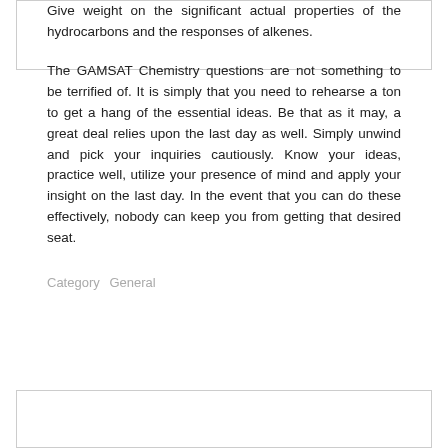Give weight on the significant actual properties of the hydrocarbons and the responses of alkenes.
The GAMSAT Chemistry questions are not something to be terrified of. It is simply that you need to rehearse a ton to get a hang of the essential ideas. Be that as it may, a great deal relies upon the last day as well. Simply unwind and pick your inquiries cautiously. Know your ideas, practice well, utilize your presence of mind and apply your insight on the last day. In the event that you can do these effectively, nobody can keep you from getting that desired seat.
Category   General